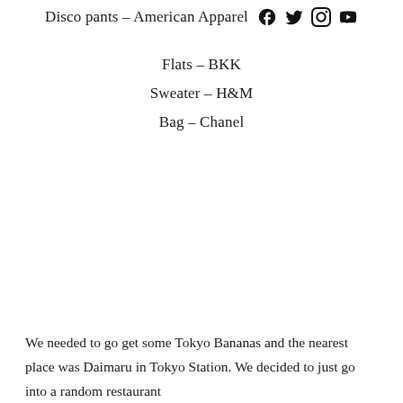Disco pants – American Apparel
Flats – BKK
Sweater – H&M
Bag – Chanel
We needed to go get some Tokyo Bananas and the nearest place was Daimaru in Tokyo Station. We decided to just go into a random restaurant